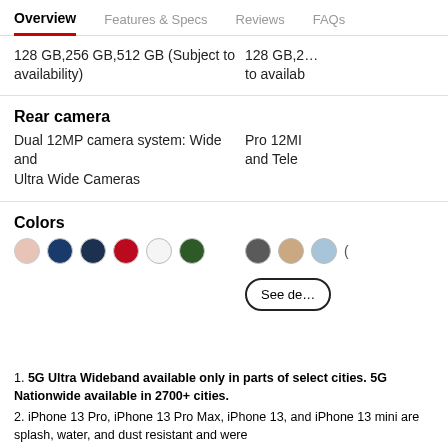Overview | Features & Specs | Reviews | FAQs
128 GB,256 GB,512 GB (Subject to availability)
Rear camera
Dual 12MP camera system: Wide and Ultra Wide Cameras
Colors
Color swatches: pink, blue, dark blue, red, white, dark green (left); dark gray, tan, light blue (right)
See details button
1. 5G Ultra Wideband available only in parts of select cities. 5G Nationwide available in 2700+ cities.
2. iPhone 13 Pro, iPhone 13 Pro Max, iPhone 13, and iPhone 13 mini are splash, water, and dust resistant and were